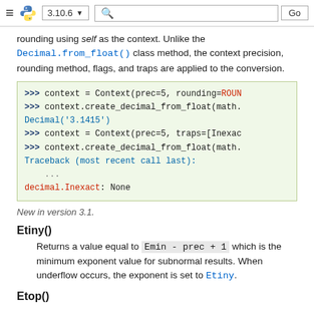≡ [Python logo] 3.10.6 ▼ [search] Go
rounding using self as the context. Unlike the Decimal.from_float() class method, the context precision, rounding method, flags, and traps are applied to the conversion.
[Figure (screenshot): Python interactive code block showing context creation with prec=5, rounding=ROUN..., context.create_decimal_from_float(math....), Decimal('3.1415'), context = Context(prec=5, traps=[Inexac...), context.create_decimal_from_float(math....), Traceback (most recent call last): ..., decimal.Inexact: None]
New in version 3.1.
Etiny()
Returns a value equal to Emin - prec + 1 which is the minimum exponent value for subnormal results. When underflow occurs, the exponent is set to Etiny.
Etop()